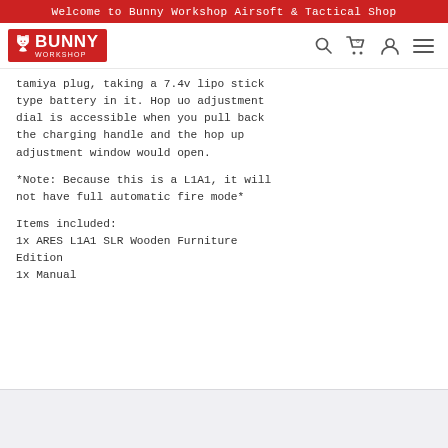Welcome to Bunny Workshop Airsoft & Tactical Shop
[Figure (logo): Bunny Workshop logo - red background with bunny icon and text BUNNY WORKSHOP]
tamiya plug, taking a 7.4v lipo stick type battery in it. Hop uo adjustment dial is accessible when you pull back the charging handle and the hop up adjustment window would open.
*Note: Because this is a L1A1, it will not have full automatic fire mode*
Items included:
1x ARES L1A1 SLR Wooden Furniture Edition
1x Manual